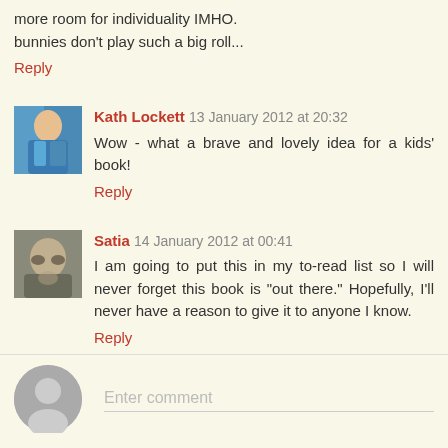more room for individuality IMHO.
bunnies don't play such a big roll...
Reply
Kath Lockett  13 January 2012 at 20:32
Wow - what a brave and lovely idea for a kids' book!
Reply
Satia  14 January 2012 at 00:41
I am going to put this in my to-read list so I will never forget this book is "out there." Hopefully, I'll never have a reason to give it to anyone I know.
Reply
Enter comment